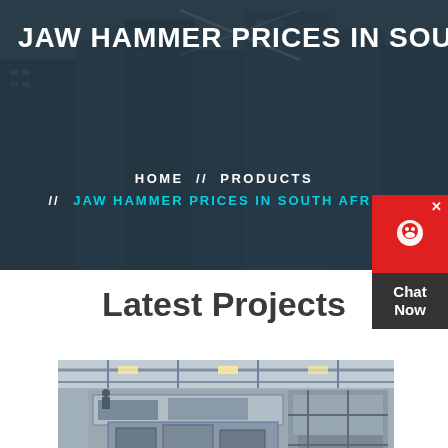JAW HAMMER PRICES IN SOUTH
HOME // PRODUCTS // JAW HAMMER PRICES IN SOUTH AFRICA
Latest Projects
[Figure (photo): Industrial jaw crusher machinery inside a large factory/plant building with metal framework and overhead lighting]